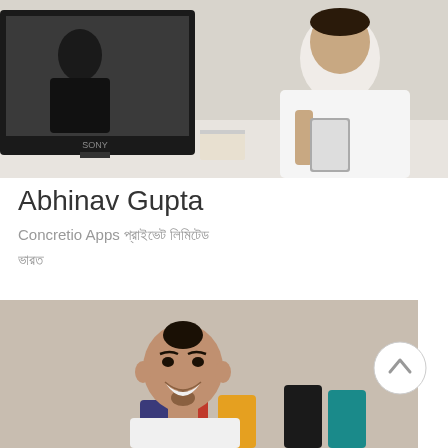[Figure (photo): Photo of Abhinav Gupta, a man in a white coat using a tablet, with a Sony TV in the background showing another person on screen.]
Abhinav Gupta
Concretio Apps
[Figure (photo): Headshot of a smiling young man in a white shirt in front of colorful cylindrical objects (Google colors: red, yellow, black, teal).]